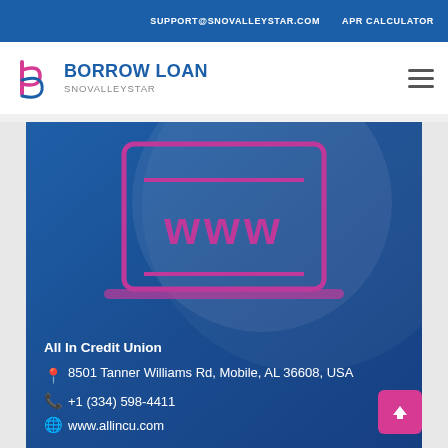SUPPORT@SNOVALLEYSTAR.COM   APR CALCULATOR
[Figure (logo): Borrow Loan Snovalleystar logo with stylized 'b' icon in pink/magenta and blue text reading BORROW LOAN / SNOVALLEYSTAR]
[Figure (illustration): Blue background card with laptop/monitor icon showing 'www' in pink/magenta, with organization contact info overlay: All In Credit Union, 8501 Tanner Williams Rd, Mobile, AL 36608, USA, +1 (334) 598-4411, www.allincu.com]